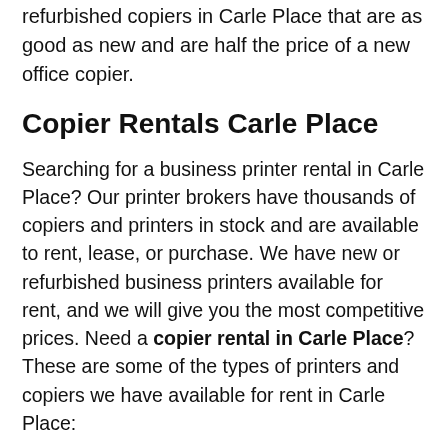refurbished copiers in Carle Place that are as good as new and are half the price of a new office copier.
Copier Rentals Carle Place
Searching for a business printer rental in Carle Place? Our printer brokers have thousands of copiers and printers in stock and are available to rent, lease, or purchase. We have new or refurbished business printers available for rent, and we will give you the most competitive prices. Need a copier rental in Carle Place? These are some of the types of printers and copiers we have available for rent in Carle Place:
Kyocera Copiers
Brother Copiers
Sharp Copiers